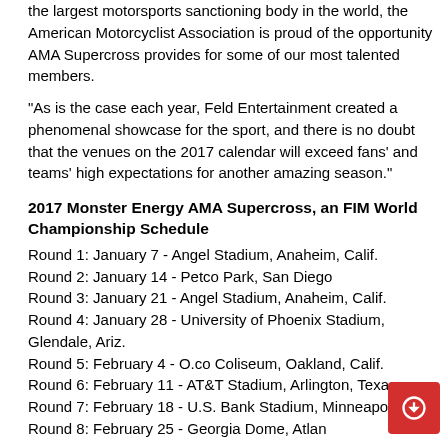the largest motorsports sanctioning body in the world, the American Motorcyclist Association is proud of the opportunity AMA Supercross provides for some of our most talented members.
"As is the case each year, Feld Entertainment created a phenomenal showcase for the sport, and there is no doubt that the venues on the 2017 calendar will exceed fans' and teams' high expectations for another amazing season."
2017 Monster Energy AMA Supercross, an FIM World Championship Schedule
Round 1: January 7 - Angel Stadium, Anaheim, Calif.
Round 2: January 14 - Petco Park, San Diego
Round 3: January 21 - Angel Stadium, Anaheim, Calif.
Round 4: January 28 - University of Phoenix Stadium, Glendale, Ariz.
Round 5: February 4 - O.co Coliseum, Oakland, Calif.
Round 6: February 11 - AT&T Stadium, Arlington, Texas
Round 7: February 18 - U.S. Bank Stadium, Minneapolis
Round 8: February 25 - Georgia Dome, Atlanta